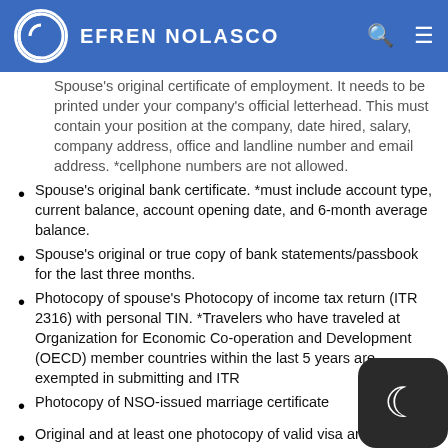EFREN NOLASCO
Spouse's original certificate of employment. It needs to be printed under your company's official letterhead. This must contain your position at the company, date hired, salary, company address, office and landline number and email address. *cellphone numbers are not allowed.
Spouse's original bank certificate. *must include account type, current balance, account opening date, and 6-month average balance.
Spouse's original or true copy of bank statements/passbook for the last three months.
Photocopy of spouse's Photocopy of income tax return (ITR 2316) with personal TIN. *Travelers who have traveled at Organization for Economic Co-operation and Development (OECD) member countries within the last 5 years are exempted in submitting and ITR
Photocopy of NSO-issued marriage certificate
Original and at least one photocopy of valid visa and arrival stamps to OECD member countries within the